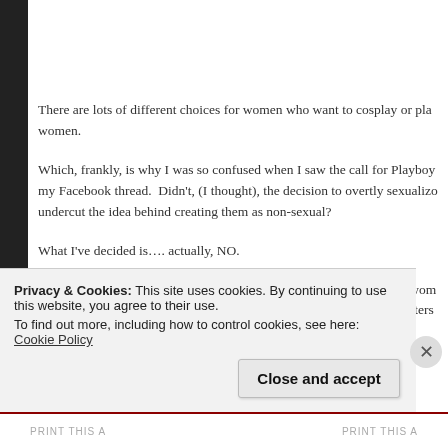There are lots of different choices for women who want to cosplay or pla women.
Which, frankly, is why I was so confused when I saw the call for Playboy my Facebook thread.  Didn't, (I thought), the decision to overtly sexualizo undercut the idea behind creating them as non-sexual?
What I've decided is…. actually, NO.
While we definitely have a lot of work to do in the representation of wom different types of expression, the "Playboy Bunny" Overwatch characters
Privacy & Cookies: This site uses cookies. By continuing to use this website, you agree to their use.
To find out more, including how to control cookies, see here: Cookie Policy
Close and accept